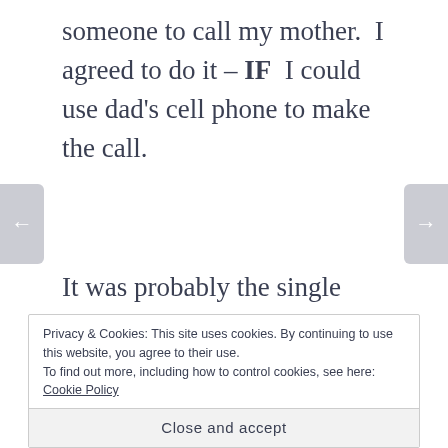someone to call my mother.  I agreed to do it – IF  I could use dad's cell phone to make the call.
It was probably the single biggest mistake of my life.  I still awake from nightmares – 21 years later – of the single worst sentence I've ever heard anyone say.  It was my
Privacy & Cookies: This site uses cookies. By continuing to use this website, you agree to their use.
To find out more, including how to control cookies, see here:
Cookie Policy
Close and accept